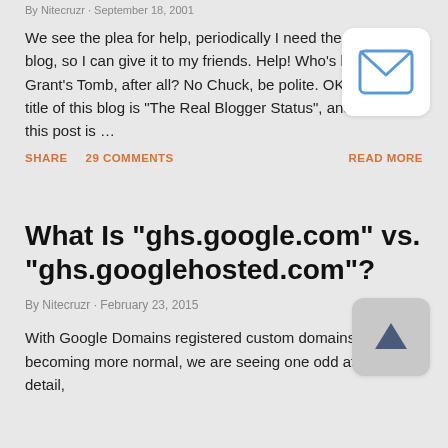By Nitecruzr · September 18, 2001
We see the plea for help, periodically I need the URL of my blog, so I can give it to my friends. Help! Who's buried in Grant's Tomb, after all? No Chuck, be polite. OK, OK. The title of this blog is "The Real Blogger Status", and the title of this post is …
SHARE   29 COMMENTS   READ MORE
[Figure (illustration): Email envelope icon in a white rounded rectangle]
What Is "ghs.google.com" vs. "ghs.googlehosted.com"?
By Nitecruzr · February 23, 2015
With Google Domains registered custom domains becoming more normal, we are seeing one odd attention to detail,
[Figure (illustration): Up arrow button icon in a grey rounded rectangle]